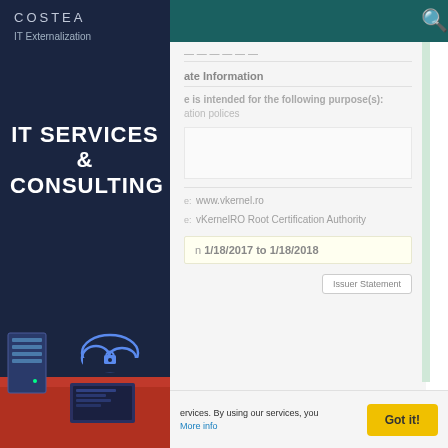COSTEA
IT Externalization
IT SERVICES
&
CONSULTING
[Figure (illustration): Illustration of servers, cloud and laptop on red background]
ate Information
e is intended for the following purpose(s):
ation polices
e: www.vkernel.ro
e: vKernelRO Root Certification Authority
n 1/18/2017 to 1/18/2018
Issuer Statement
ervices. By using our services, you
More info
Got it!